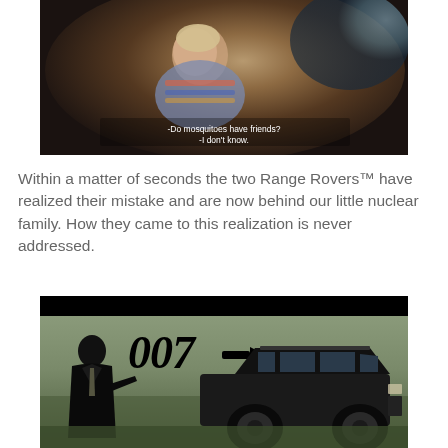[Figure (screenshot): Dark movie still showing a child looking down in a car back seat. Subtitles at bottom read: -Do mosquitoes have friends? -I don't know.]
Within a matter of seconds the two Range Rovers™ have realized their mistake and are now behind our little nuclear family. How they came to this realization is never addressed.
[Figure (screenshot): Screenshot of a movie scene with 007 logo overlaid, showing a black Range Rover SUV on grassy terrain and a man silhouette in a suit on the left.]